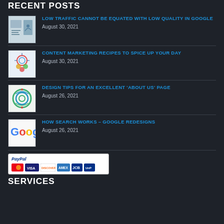RECENT POSTS
LOW TRAFFIC CANNOT BE EQUATED WITH LOW QUALITY IN GOOGLE — August 30, 2021
CONTENT MARKETING RECIPES TO SPICE UP YOUR DAY — August 30, 2021
DESIGN TIPS FOR AN EXCELLENT 'ABOUT US' PAGE — August 26, 2021
HOW SEARCH WORKS – GOOGLE REDESIGNS — August 26, 2021
[Figure (other): PayPal accepted payment methods logo with MasterCard, VISA, Discover, American Express, JCB, and other cards]
SERVICES